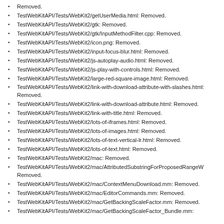Removed.
TestWebKitAPI/Tests/WebKit2/getUserMedia.html: Removed.
TestWebKitAPI/Tests/WebKit2/gtk: Removed.
TestWebKitAPI/Tests/WebKit2/gtk/InputMethodFilter.cpp: Removed.
TestWebKitAPI/Tests/WebKit2/icon.png: Removed.
TestWebKitAPI/Tests/WebKit2/input-focus-blur.html: Removed.
TestWebKitAPI/Tests/WebKit2/js-autoplay-audio.html: Removed.
TestWebKitAPI/Tests/WebKit2/js-play-with-controls.html: Removed.
TestWebKitAPI/Tests/WebKit2/large-red-square-image.html: Removed.
TestWebKitAPI/Tests/WebKit2/link-with-download-attribute-with-slashes.html: Removed.
TestWebKitAPI/Tests/WebKit2/link-with-download-attribute.html: Removed.
TestWebKitAPI/Tests/WebKit2/link-with-title.html: Removed.
TestWebKitAPI/Tests/WebKit2/lots-of-iframes.html: Removed.
TestWebKitAPI/Tests/WebKit2/lots-of-images.html: Removed.
TestWebKitAPI/Tests/WebKit2/lots-of-text-vertical-lr.html: Removed.
TestWebKitAPI/Tests/WebKit2/lots-of-text.html: Removed.
TestWebKitAPI/Tests/WebKit2/mac: Removed.
TestWebKitAPI/Tests/WebKit2/mac/AttributedSubstringForProposedRangeW Removed.
TestWebKitAPI/Tests/WebKit2/mac/ContextMenuDownload.mm: Removed.
TestWebKitAPI/Tests/WebKit2/mac/EditorCommands.mm: Removed.
TestWebKitAPI/Tests/WebKit2/mac/GetBackingScaleFactor.mm: Removed.
TestWebKitAPI/Tests/WebKit2/mac/GetBackingScaleFactor_Bundle.mm: